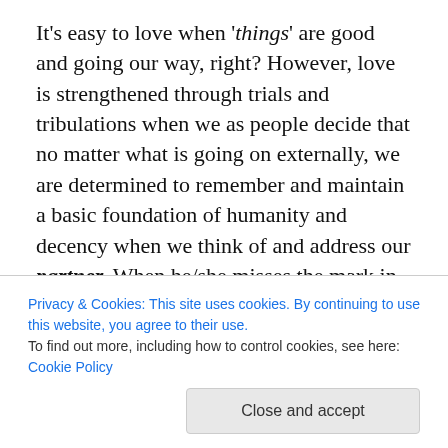It's easy to love when 'things' are good and going our way, right? However, love is strengthened through trials and tribulations when we as people decide that no matter what is going on externally, we are determined to remember and maintain a basic foundation of humanity and decency when we think of and address our partner. When he/she misses the mark in our opinion, we can choose compassion instead of spite. We can choose soft words or if necessary temporary silence in the midst of conflict or pressure. We can choose to remember that our partner is a person who needs the same grace and kindness that question. We all have and will always have faults as well
Privacy & Cookies: This site uses cookies. By continuing to use this website, you agree to their use. To find out more, including how to control cookies, see here: Cookie Policy
Close and accept